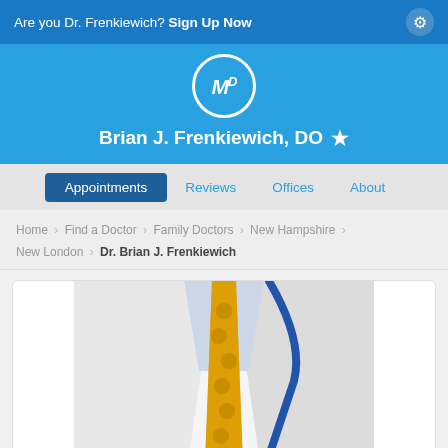Are you Dr. Frenkiewich? Sign Up Now
Brian J. Frenkiewich, DO ★
Appointments | Reviews | Offices | About
Home > Find a Doctor > Family Doctors > New Hampshire > New London > Dr. Brian J. Frenkiewich
[Figure (photo): Doctor in white coat with yellow tie and blue stethoscope]